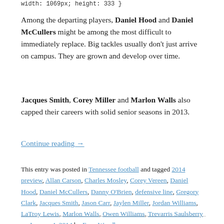width: 1069px; height: 333 }
Among the departing players, Daniel Hood and Daniel McCullers might be among the most difficult to immediately replace. Big tackles usually don't just arrive on campus. They are grown and develop over time.
Jacques Smith, Corey Miller and Marlon Walls also capped their careers with solid senior seasons in 2013.
Continue reading →
This entry was posted in Tennessee football and tagged 2014 preview, Allan Carson, Charles Mosley, Corey Vereen, Daniel Hood, Daniel McCullers, Danny O'Brien, defensive line, Gregory Clark, Jacques Smith, Jason Carr, Jaylen Miller, Jordan Williams, LaTroy Lewis, Marlon Walls, Owen Williams, Trevarris Saulsberry on January 4, 2014 by Evan Woodbery.